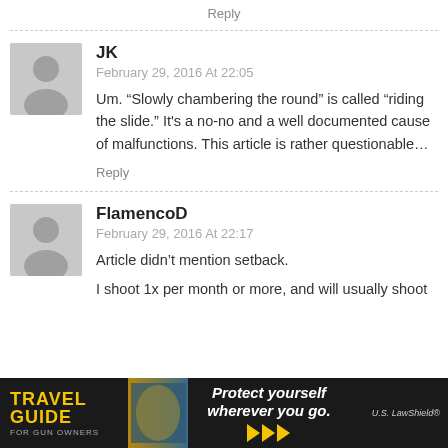Reply
JK
February 29, 2016 At 22:05
Um. “Slowly chambering the round” is called “riding the slide.” It's a no-no and a well documented cause of malfunctions. This article is rather questionable…
Reply
FlamencoD
February 29, 2016 At 22:17
Article didn’t mention setback.
I shoot 1x per month or more, and will usually shoot
[Figure (photo): Advertisement banner for Travel Guide for Gun Owners with US LawShield, reading 'Protect yourself wherever you go.']